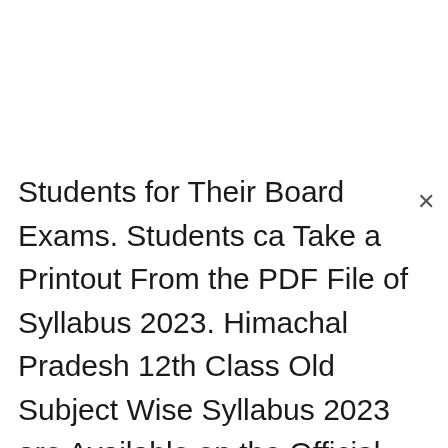Students for Their Board Exams. Students can Take a Printout From the PDF File of Syllabus 2023. Himachal Pradesh 12th Class Old Subject Wise Syllabus 2023 are Available on the Official Website hpbose.org. HP Board 12th Class Board Subject Wise Syllabus 2023 Contain all Topics Covered in the Subject Wise Syllabus 2023 you can Thoroughly Learn All Topics. Syllabus 2023 Back Study Materials in the Subject Wise Syllabus 2023 are Very